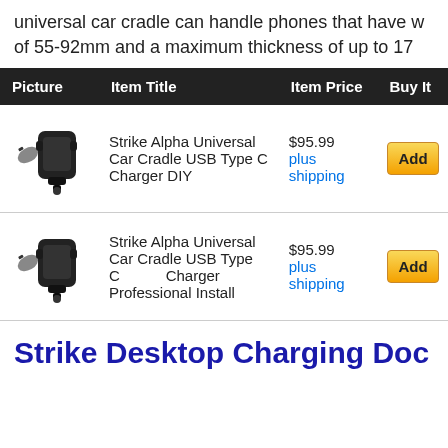universal car cradle can handle phones that have w of 55-92mm and a maximum thickness of up to 17
| Picture | Item Title | Item Price | Buy It |
| --- | --- | --- | --- |
| [image] | Strike Alpha Universal Car Cradle USB Type C Charger DIY | $95.99 plus shipping | Add |
| [image] | Strike Alpha Universal Car Cradle USB Type C Charger Professional Install | $95.99 plus shipping | Add |
Strike Desktop Charging Doc For Alpha Cradle